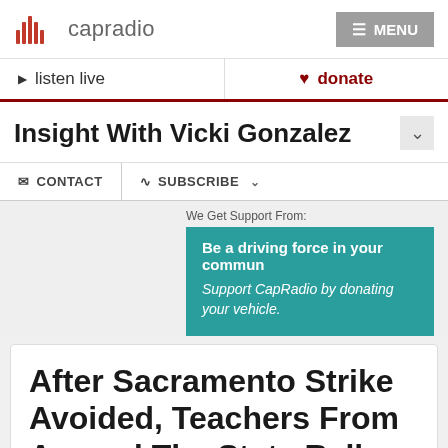capradio
listen live   donate
Insight With Vicki Gonzalez
CONTACT   SUBSCRIBE
We Get Support From:
[Figure (other): Teal advertisement banner: 'Be a driving force in your community. Support CapRadio by donating your vehicle.']
After Sacramento Strike Avoided, Teachers From Around The State Rally At The Capitol